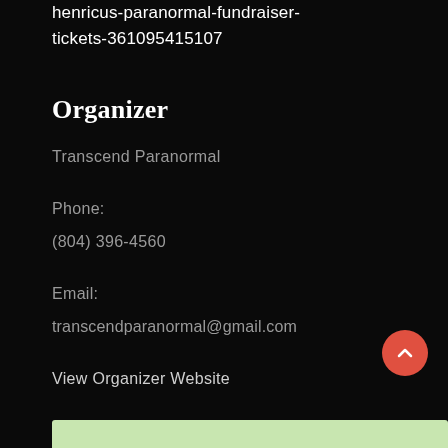henricus-paranormal-fundraiser-tickets-361095415107
Organizer
Transcend Paranormal
Phone:
(804) 396-4560
Email:
transcendparanormal@gmail.com
View Organizer Website
[Figure (other): Red circular back-to-top button with upward chevron arrow]
[Figure (map): Partial map view at bottom of page]